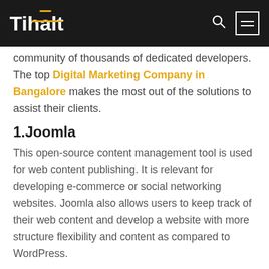Tihalt
community of thousands of dedicated developers. The top Digital Marketing Company in Bangalore makes the most out of the solutions to assist their clients.
1.Joomla
This open-source content management tool is used for web content publishing. It is relevant for developing e-commerce or social networking websites. Joomla also allows users to keep track of their web content and develop a website with more structure flexibility and content as compared to WordPress.
The Best Digital Marketing Company in Bangalore